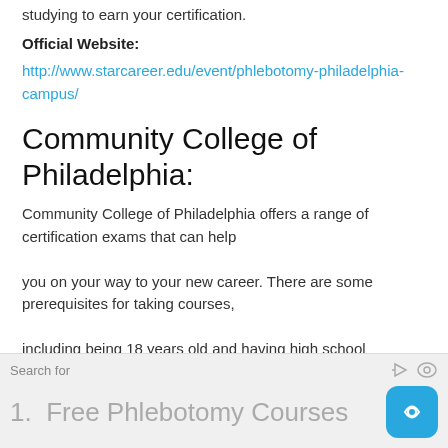studying to earn your certification.
Official Website:
http://www.starcareer.edu/event/phlebotomy-philadelphia-campus/
Community College of Philadelphia:
Community College of Philadelphia offers a range of certification exams that can help you on your way to your new career. There are some prerequisites for taking courses, including being 18 years old and having high school diploma.
Search for
1.  Free Phlebotomy Courses